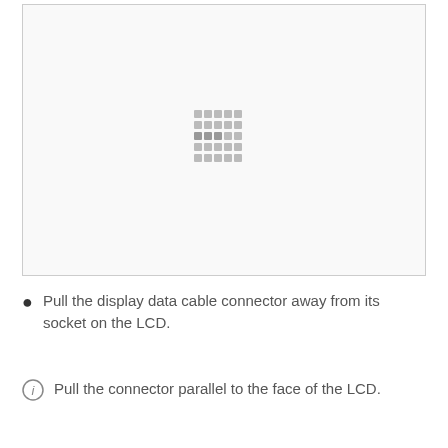[Figure (photo): A large white/light gray image box showing an engineering or repair step illustration, with a small dot-matrix pattern visible in the center of the image area.]
Pull the display data cable connector away from its socket on the LCD.
Pull the connector parallel to the face of the LCD.